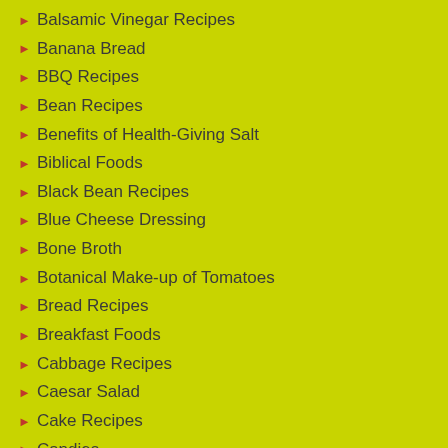Balsamic Vinegar Recipes
Banana Bread
BBQ Recipes
Bean Recipes
Benefits of Health-Giving Salt
Biblical Foods
Black Bean Recipes
Blue Cheese Dressing
Bone Broth
Botanical Make-up of Tomatoes
Bread Recipes
Breakfast Foods
Cabbage Recipes
Caesar Salad
Cake Recipes
Candies
Caramelizing Onions
Carrot Recipes
Chicken Recipes
Childhood Recipes